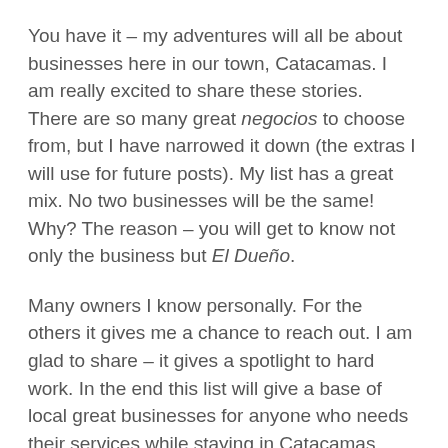You have it – my adventures will all be about businesses here in our town, Catacamas. I am really excited to share these stories. There are so many great negocios to choose from, but I have narrowed it down (the extras I will use for future posts). My list has a great mix. No two businesses will be the same! Why? The reason – you will get to know not only the business but El Dueño.
Many owners I know personally. For the others it gives me a chance to reach out. I am glad to share – it gives a spotlight to hard work. In the end this list will give a base of local great businesses for anyone who needs their services while staying in Catacamas.